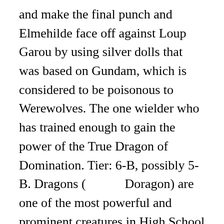and make the final punch and Elmehilde face off against Loup Garou by using silver dolls that was based on Gundam, which is considered to be poisonous to Werewolves. The one wielder who has trained enough to gain the power of the True Dragon of Domination. Tier: 6-B, possibly 5-B. Dragons (　　　Doragon) are one of the most powerful and prominent creatures in High School DxD. Despite Fafnir being defeated, Asia bravely to faces Crom on her own as she declares she is Issei's servant and his future wife, which earned her admiration from Crom as he defeats and retires his opponent. Great Red, much like his original self, has a personality similar to that of a biker gang delinquent. Wearing his crimson armor